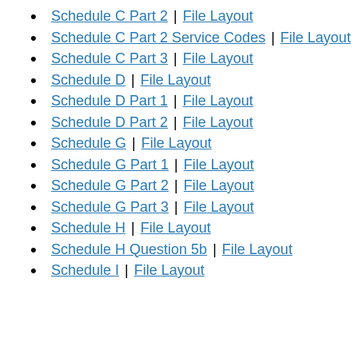Schedule C Part 2 | File Layout
Schedule C Part 2 Service Codes | File Layout
Schedule C Part 3 | File Layout
Schedule D | File Layout
Schedule D Part 1 | File Layout
Schedule D Part 2 | File Layout
Schedule G | File Layout
Schedule G Part 1 | File Layout
Schedule G Part 2 | File Layout
Schedule G Part 3 | File Layout
Schedule H | File Layout
Schedule H Question 5b | File Layout
Schedule I | File Layout